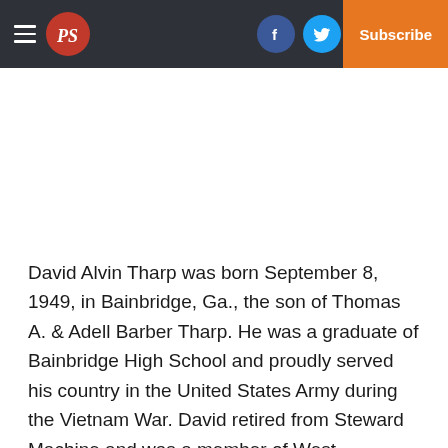PS [logo] | Facebook | Twitter | Email | Log In | Subscribe
David Alvin Tharp was born September 8, 1949, in Bainbridge, Ga., the son of Thomas A. & Adell Barber Tharp. He was a graduate of Bainbridge High School and proudly served his country in the United States Army during the Vietnam War. David retired from Steward Machine and was a member of West Bainbridge Baptist Church.